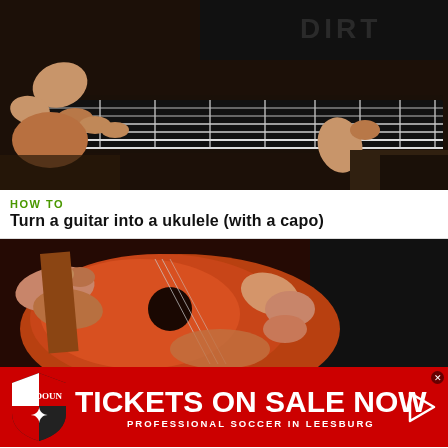[Figure (screenshot): Close-up video thumbnail of hands playing an electric guitar fretboard, dark background with a t-shirt visible at top]
HOW TO
Turn a guitar into a ukulele (with a capo)
[Figure (screenshot): Close-up video thumbnail of hands playing an acoustic guitar, warm reddish-brown tones]
[Figure (other): Advertisement banner for Loudoun soccer: TICKETS ON SALE NOW - PROFESSIONAL SOCCER IN LEESBURG, red background with shield logo]